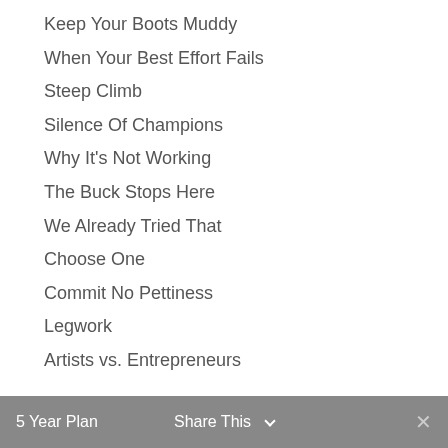Keep Your Boots Muddy
When Your Best Effort Fails
Steep Climb
Silence Of Champions
Why It's Not Working
The Buck Stops Here
We Already Tried That
Choose One
Commit No Pettiness
Legwork
Artists vs. Entrepreneurs
5 Year Plan   Share This ∨   ✕